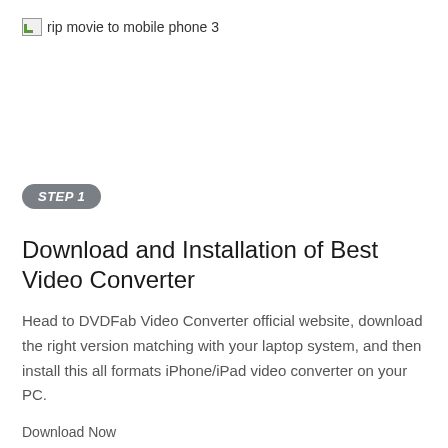[Figure (photo): Broken image placeholder with alt text 'rip movie to mobile phone 3']
STEP 1
Download and Installation of Best Video Converter
Head to DVDFab Video Converter official website, download the right version matching with your laptop system, and then install this all formats iPhone/iPad video converter on your PC.
Download Now
STEP 2
Add the Video File